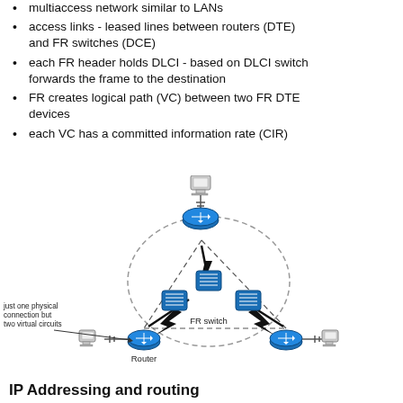multiaccess network similar to LANs
access links - leased lines between routers (DTE) and FR switches (DCE)
each FR header holds DLCI - based on DLCI switch forwards the frame to the destination
FR creates logical path (VC) between two FR DTE devices
each VC has a committed information rate (CIR)
[Figure (network-graph): Network diagram showing Frame Relay topology with three routers (DTE devices) connected through three FR switches inside a dashed oval cloud. Left router and right router are on the bottom corners, top router is at the top center. Each router has a PC/computer attached. Dashed lines represent virtual circuits between routers. Bold lightning-bolt arrows indicate physical WAN links. Label 'just one physical connection but two virtual circuits' points to the left router. Label 'FR switch' labels the switch cloud area. Label 'Router' labels the bottom-left router.]
IP Addressing and routing